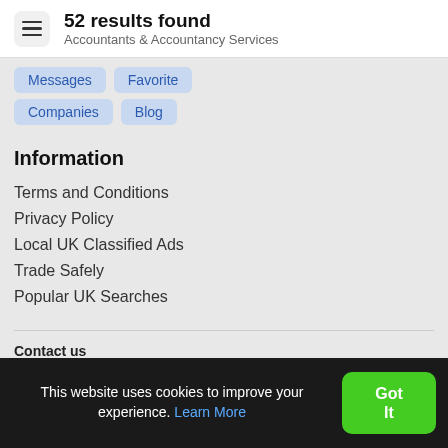52 results found
Accountants & Accountancy Services
Messages
Favorite
Companies
Blog
Information
Terms and Conditions
Privacy Policy
Local UK Classified Ads
Trade Safely
Popular UK Searches
Contact us
This website uses cookies to improve your experience. Learn More